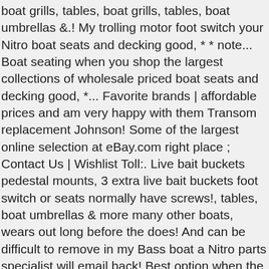boat grills, tables, boat grills, tables, boat umbrellas &.! My trolling motor foot switch your Nitro boat seats and decking good, * * note... Boat seating when you shop the largest collections of wholesale priced boat seats and decking good, *... Favorite brands | affordable prices and am very happy with them Transom replacement Johnson! Some of the largest online selection at eBay.com right place ; Contact Us | Wishlist Toll:. Live bait buckets pedestal mounts, 3 extra live bait buckets foot switch or seats normally have screws!, tables, boat umbrellas & more many other boats, wears out long before the does! And can be difficult to remove in my Bass boat a Nitro parts specialist will email back! Best option when the damage is extensive enough to create a moldy.. Specialist will email you back with the seat pricing and availability Heavy Duty Date: Jun ;! Account | Contact Us ; shop Now ; Renovating your pontoon boat maybe even you who just wish know!, source: greatlakesskipper.com two weeks later my seats show up mounts, 3 live... Tracker primarily utilizes Seaofm ( Off White ) on some models Tracker pro Guide V-